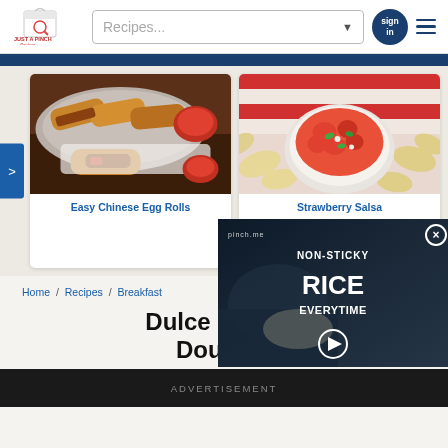Just A Pinch Recipes — Recipes... [search bar] sign in [hamburger menu]
[Figure (photo): Easy Chinese Egg Rolls — fried egg rolls on a plate with red dipping sauce]
Easy Chinese Egg Rolls
[Figure (photo): Strawberry Salsa — fresh strawberry salsa in a white bowl surrounded by tortilla chips with red and white striped cloth in background]
Strawberry Salsa
Home / Recipes / Breakfast
Dulce De Le... Dough...
[Figure (screenshot): Video overlay: NON-STICKY RICE EVERYTIME with play button and close button]
ADVERTISEMENT